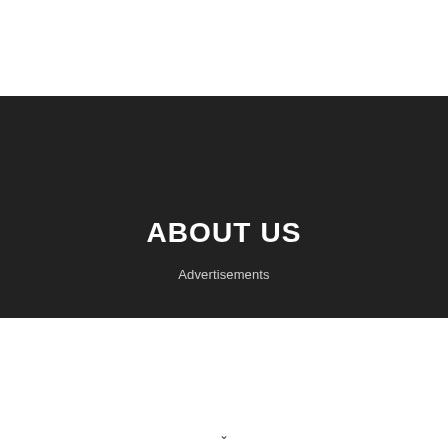[Figure (other): Dark banner/hero section with dark background (#222) occupying a wide horizontal band across the middle of the page, containing a centered title 'ABOUT US' and subtitle 'Advertisements']
ABOUT US
Advertisements